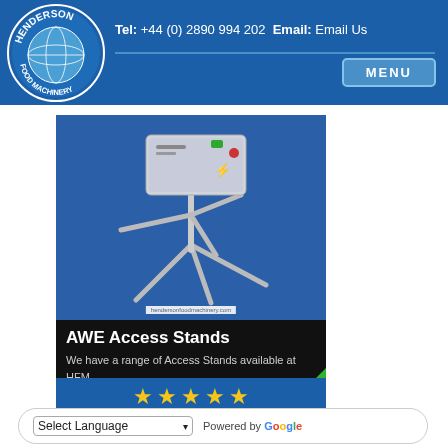Henderson Food Machinery — Tel: +44 (0) 2890 994 202  Email: Email Us
[Figure (photo): AWE Access Stand turnstile product image on blue background]
AWE Access Stands
We have a range of Access Stands available at HFM. Allowing for the blocking and access from one area to anoth
[Figure (other): Five yellow star rating on blue background]